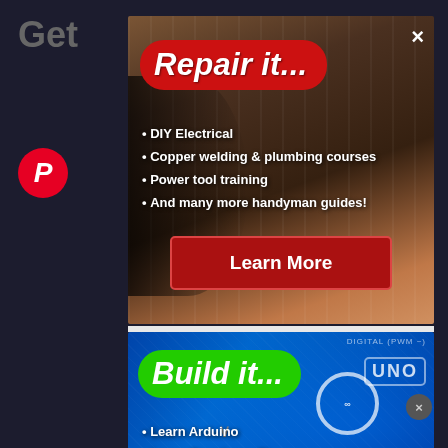[Figure (screenshot): Dark background webpage with Pinterest icon on left side]
[Figure (photo): Advertisement card showing electrical panel repair content with red 'Repair it...' title, bullet list, and Learn More button]
Repair it...
DIY Electrical
Copper welding & plumbing courses
Power tool training
And many more handyman guides!
[Figure (photo): Advertisement card showing Arduino board with green 'Build it...' title and bullet list]
Build it...
Learn Arduino
Learn Raspberry Pi
learn crypto mining
Build a drone from scratch!
No compatible source was found for this media.
Soldering Iron Step by Step